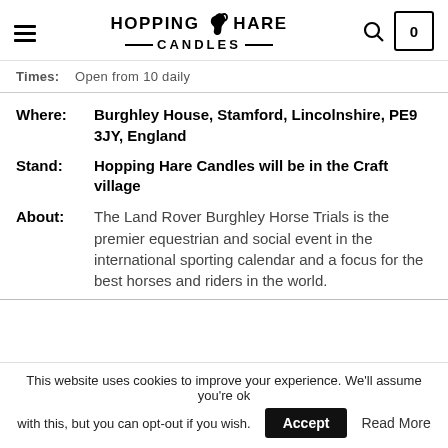Hopping Hare Candles — navigation header with hamburger menu, logo, search icon, and cart (0)
Times:    Open from 10 daily
Where:    Burghley House, Stamford, Lincolnshire, PE9 3JY, England
Stand:    Hopping Hare Candles will be in the Craft village
About:    The Land Rover Burghley Horse Trials is the premier equestrian and social event in the international sporting calendar and a focus for the best horses and riders in the world.
This website uses cookies to improve your experience. We'll assume you're ok with this, but you can opt-out if you wish. Accept  Read More